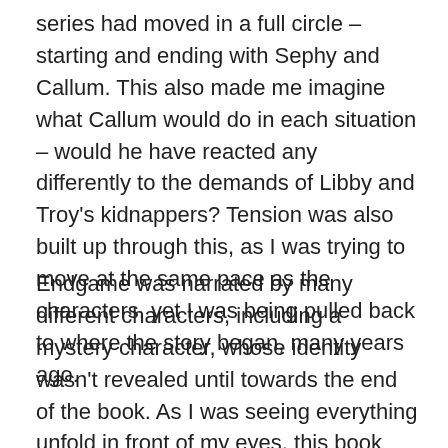series had moved in a full circle – starting and ending with Sephy and Callum. This also made me imagine what Callum would do in each situation – would he have reacted any differently to the demands of Libby and Troy's kidnappers? Tension was also built up through this, as I was trying to move at the same pace as the characters, yet I was being pulled back to where the story began, many years ago.
Endgame was narrated by many different characters, including a mystery character, whose identity wasn't revealed until towards the end of the book. As I was seeing everything unfold in front of my eyes, this book was so tense. A great example of this would be towards the end, where Callie and Sephy are both heading in the same direction, but neither of them know what the other is doing until it is too late.